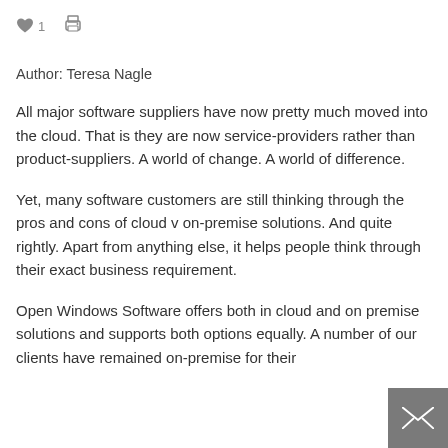♥ 1  [print icon]
Author: Teresa Nagle
All major software suppliers have now pretty much moved into the cloud. That is they are now service-providers rather than product-suppliers. A world of change. A world of difference.
Yet, many software customers are still thinking through the pros and cons of cloud v on-premise solutions. And quite rightly. Apart from anything else, it helps people think through their exact business requirement.
Open Windows Software offers both in cloud and on premise solutions and supports both options equally. A number of our clients have remained on-premise for their core (erp) processes. Many are clients of ours for the cloud...